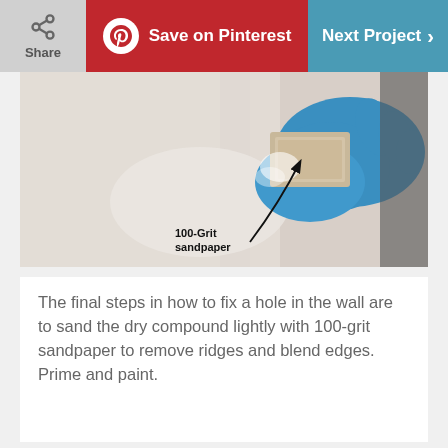Share | Save on Pinterest | Next Project
[Figure (photo): A gloved hand (blue rubber glove) sanding a white wall with sandpaper. An arrow annotation labels the sandpaper as '100-Grit sandpaper'.]
The final steps in how to fix a hole in the wall are to sand the dry compound lightly with 100-grit sandpaper to remove ridges and blend edges. Prime and paint.